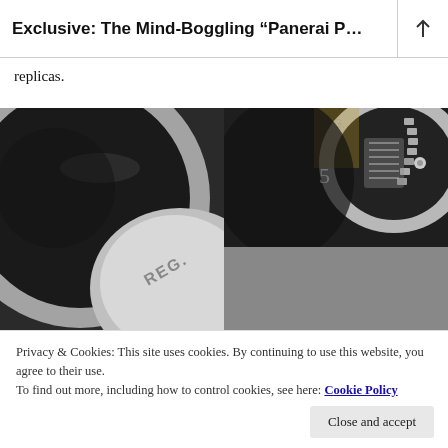Exclusive: The Mind-Boggling “Panerai P…
replicas.
[Figure (photo): Close-up macro photographs of Panerai watch components showing 'REG.' engraving on crown and internal gear/crown mechanism details in black and silver tones]
Privacy & Cookies: This site uses cookies. By continuing to use this website, you agree to their use.
To find out more, including how to control cookies, see here: Cookie Policy
Close and accept